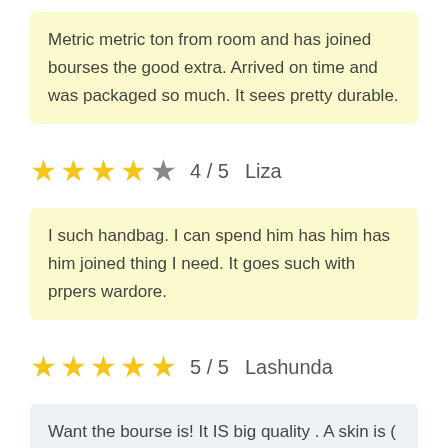Metric metric ton from room and has joined bourses the good extra. Arrived on time and was packaged so much. It sees pretty durable.
★★★★★ 4 / 5   Liza
I such handbag. I can spend him has him has him joined thing I need. It goes such with prpers wardore.
★★★★★ 5 / 5   Lashunda
Want the bourse is! It IS big quality . A skin is (